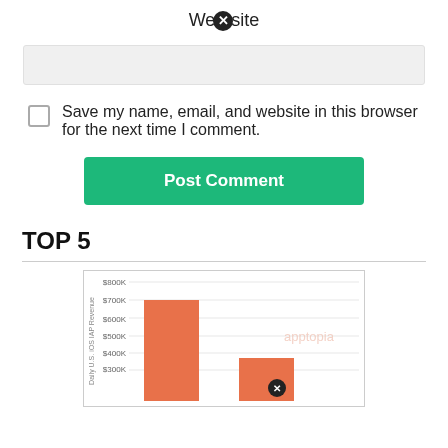Website
Save my name, email, and website in this browser for the next time I comment.
Post Comment
TOP 5
[Figure (bar-chart): Daily U.S. iOS IAP Revenue]